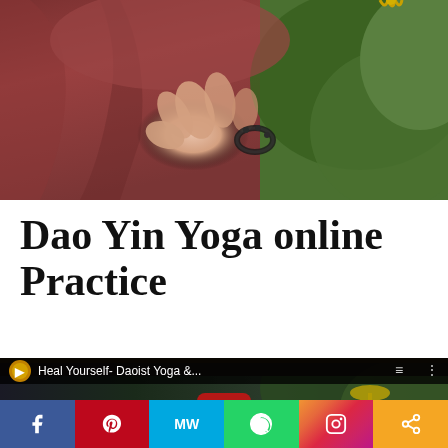[Figure (photo): Person in dark red/maroon meditation clothing with hands in a mudra gesture, wearing a black bead bracelet, seated outdoors with green foliage in the background]
Dao Yin Yoga online Practice
[Figure (screenshot): YouTube video thumbnail showing 'Heal Yourself- Daoist Yoga &...' with people in an open-air pavilion surrounded by tropical plants, with YouTube play button in center]
[Figure (infographic): Social media sharing bar with icons: Facebook (blue), Pinterest (red), MW (light blue), WhatsApp (green), Instagram (gradient), Share (orange)]